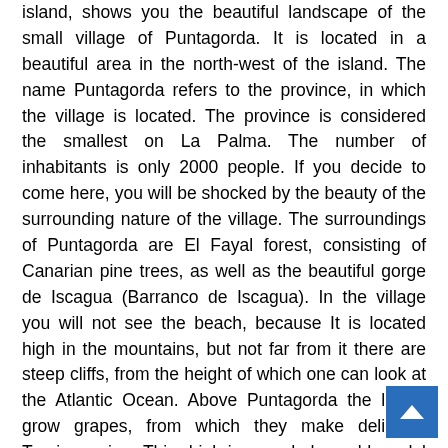island, shows you the beautiful landscape of the small village of Puntagorda. It is located in a beautiful area in the north-west of the island. The name Puntagorda refers to the province, in which the village is located. The province is considered the smallest on La Palma. The number of inhabitants is only 2000 people. If you decide to come here, you will be shocked by the beauty of the surrounding nature of the village. The surroundings of Puntagorda are El Fayal forest, consisting of Canarian pine trees, as well as the beautiful gorge de Iscagua (Barranco de Iscagua). In the village you will not see the beach, because It is located high in the mountains, but not far from it there are steep cliffs, from the height of which one can look at the Atlantic Ocean. Above Puntagorda the locals grow grapes, from which they make delicious Traviesa wine. This drink is awarded a gold medal in the Spanish wine competition. If you come to Puntagorda in February, you can admire the pink groves of flowering almond trees. In honor of the beautiful flowering even arrange festive processions and concerts. In addition to wines and almond groves, the latest great tourist attraction...